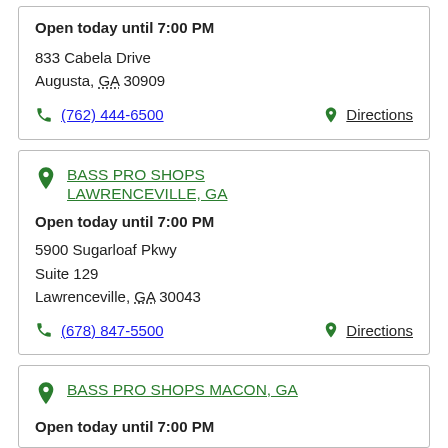Open today until 7:00 PM
833 Cabela Drive
Augusta, GA 30909
(762) 444-6500
Directions
BASS PRO SHOPS LAWRENCEVILLE, GA
Open today until 7:00 PM
5900 Sugarloaf Pkwy
Suite 129
Lawrenceville, GA 30043
(678) 847-5500
Directions
BASS PRO SHOPS MACON, GA
Open today until 7:00 PM